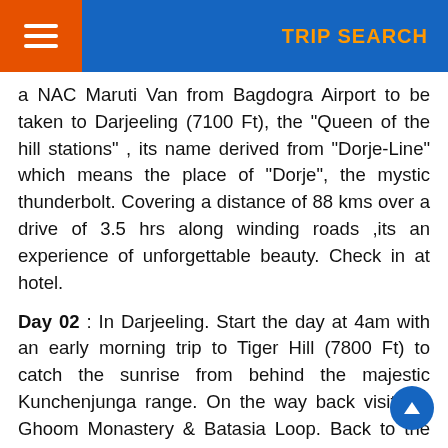TRIP SEARCH
a NAC Maruti Van from Bagdogra Airport to be taken to Darjeeling (7100 Ft), the "Queen of the hill stations" , its name derived from "Dorje-Line" which means the place of "Dorje", the mystic thunderbolt. Covering a distance of 88 kms over a drive of 3.5 hrs along winding roads ,its an experience of unforgettable beauty. Check in at hotel.
Day 02 : In Darjeeling. Start the day at 4am with an early morning trip to Tiger Hill (7800 Ft) to catch the sunrise from behind the majestic Kunchenjunga range. On the way back visit the Ghoom Monastery & Batasia Loop. Back to the hotel for breakfast. After breakfast proceed for a half day sightseeing of the Himalayan Mountaineering Institute, Zoo, Tenzing Rock, Labong Race Course, Tea Garden, Tibetan Refugees Self Help Centre & Rope-way. Back to the hotel by 3pm. Take a walk to "Chowrasta" centre point of the Mall area. Overnight at hotel.